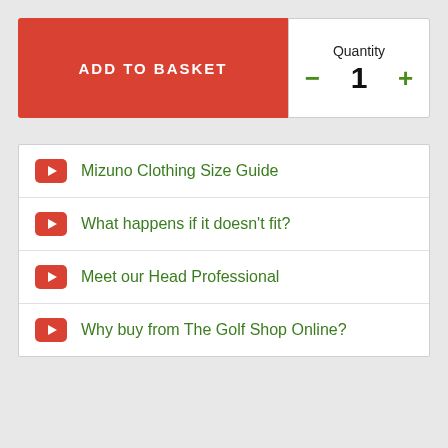[Figure (screenshot): ADD TO BASKET button (red) with Quantity selector showing 1, with minus and plus controls]
Mizuno Clothing Size Guide
What happens if it doesn't fit?
Meet our Head Professional
Why buy from The Golf Shop Online?